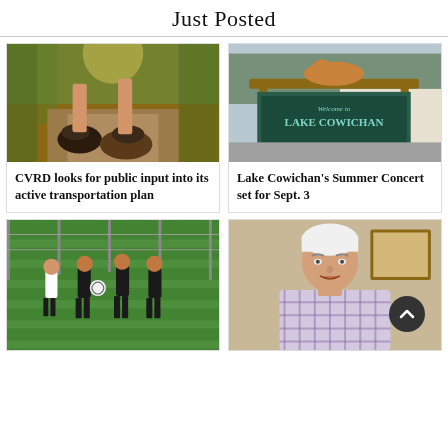Just Posted
[Figure (photo): Close-up of running shoes on a dirt path surrounded by trees]
CVRD looks for public input into its active transportation plan
[Figure (photo): Welcome to Lake Cowichan sign with a deer artwork on top]
Lake Cowichan's Summer Concert set for Sept. 3
[Figure (photo): Rugby players running on an indoor turf field]
[Figure (photo): White-haired man speaking, wearing a plaid shirt]